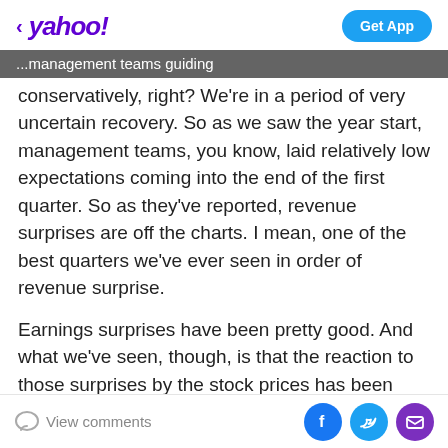< yahoo! | Get App
...management teams guiding conservatively, right? We're in a period of very uncertain recovery. So as we saw the year start, management teams, you know, laid relatively low expectations coming into the end of the first quarter. So as they've reported, revenue surprises are off the charts. I mean, one of the best quarters we've ever seen in order of revenue surprise.
Earnings surprises have been pretty good. And what we've seen, though, is that the reaction to those surprises by the stock prices has been pretty muted. So I mean, it's a simple, set the bar low, exceed it. Investors knew this was going to be a good quarter, though. The
View comments | Share on Facebook | Share on Twitter | Share via Email